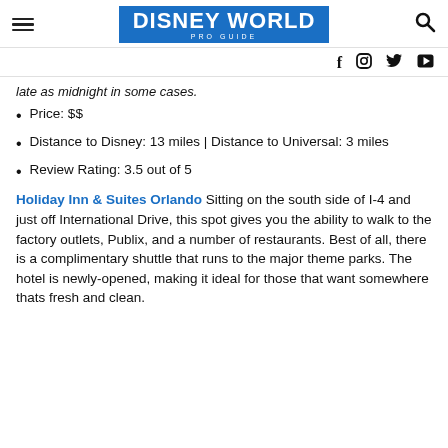DISNEY WORLD PRO GUIDE
late as midnight in some cases.
Price: $$
Distance to Disney: 13 miles | Distance to Universal: 3 miles
Review Rating: 3.5 out of 5
Holiday Inn & Suites Orlando Sitting on the south side of I-4 and just off International Drive, this spot gives you the ability to walk to the factory outlets, Publix, and a number of restaurants. Best of all, there is a complimentary shuttle that runs to the major theme parks. The hotel is newly-opened, making it ideal for those that want somewhere thats fresh and clean.